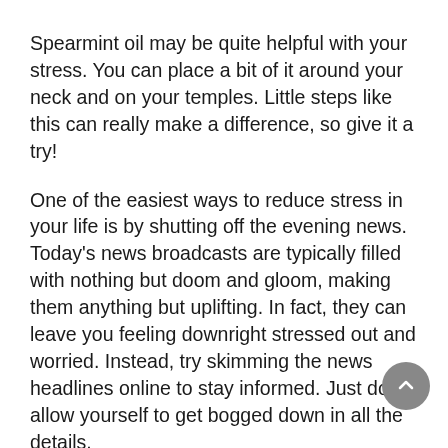Spearmint oil may be quite helpful with your stress. You can place a bit of it around your neck and on your temples. Little steps like this can really make a difference, so give it a try!
One of the easiest ways to reduce stress in your life is by shutting off the evening news. Today's news broadcasts are typically filled with nothing but doom and gloom, making them anything but uplifting. In fact, they can leave you feeling downright stressed out and worried. Instead, try skimming the news headlines online to stay informed. Just don't allow yourself to get bogged down in all the details.
In order to reduce stress in your life, avoid bottling up your feelings. Instead, say what is on your mind in a caring and respectful way so that people know how your are feeling. Keeping your feelings to yourself can often lead to resentment and anger, whereas open communication can help you find solutions to even the